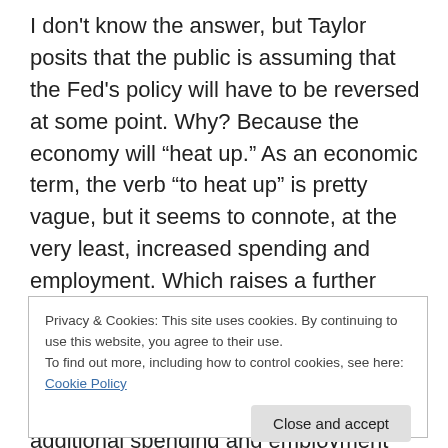I don't know the answer, but Taylor posits that the public is assuming that the Fed's policy will have to be reversed at some point. Why? Because the economy will “heat up.” As an economic term, the verb “to heat up” is pretty vague, but it seems to connote, at the very least, increased spending and employment. Which raises a further question: given a state of pessimistic expectations about future demand and employment, does a policy that, by assumption, increases the likelihood of additional spending and employment create uncertainty or diminish
Privacy & Cookies: This site uses cookies. By continuing to use this website, you agree to their use.
To find out more, including how to control cookies, see here: Cookie Policy